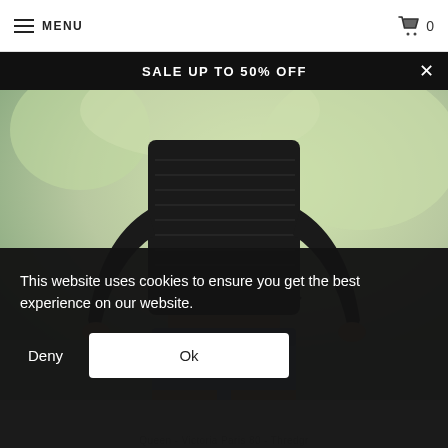MENU  🛒 0
SALE UP TO 50% OFF
[Figure (photo): Fashion product photo: woman wearing a black ribbed long-sleeve crop top and light blue high-waist jeans, cropped at torso level, outdoor blurred background]
This website uses cookies to ensure you get the best experience on our website.
Deny  Ok
Queen - Victoria Paris 80 - Thredgr